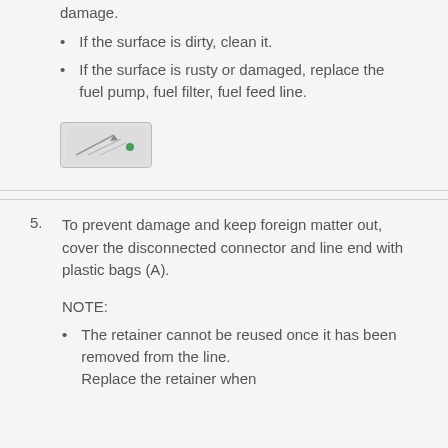damage.
If the surface is dirty, clean it.
If the surface is rusty or damaged, replace the fuel pump, fuel filter, fuel feed line.
[Figure (illustration): Small icon button with diagonal arrow/cursor graphic and a green dot indicator, gray rectangular button with rounded corners]
To prevent damage and keep foreign matter out, cover the disconnected connector and line end with plastic bags (A).
NOTE:
The retainer cannot be reused once it has been removed from the line. Replace the retainer when
reconnecting the fuel rail.